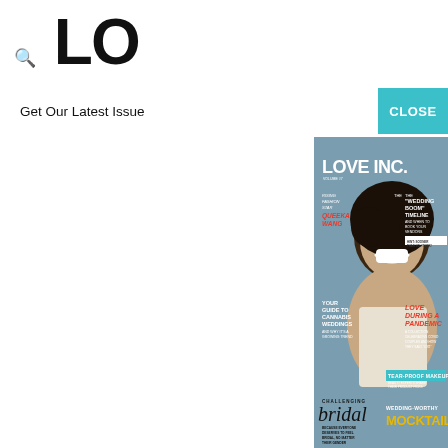LO [partially visible logo]
because I'm mos
happened! Stop
convinced Kaitly
Nick at this mor
and instead she
much." He's 28,
figure out how t

As always, Kaitly
that it's been a t
for Ms. Bristowe
shoes broke on
she's had to dea
number rose ce
I kind of want or
I'm sick of hearin
Ben H. is super s
knows they had
be let in on the s
Bandit strikes again! NICK sits down with Kaitlyn as well
[Figure (screenshot): Modal popup overlay on a magazine website showing the Love Inc. magazine cover. The modal has a white header bar with 'Get Our Latest Issue' text and a teal CLOSE button. The magazine cover features a smiling Black man with an afro on a blue-grey background, with the title LOVE INC. and various article headlines including: RISING FASHION STAR QUEEKA WANG, YOUR GUIDE TO CANNABIS WEDDINGS AND WHY IT'S A GROWING TREND, THE WEDDING BOOM TIMELINE AND WHEN TO BOOK YOUR VENDORS (HINT: SOONER THAN YOU THINK!), LOVE DURING A PANDEMIC A COLLECTION CELEBRATING COVID COUPLES AND HOW THEY SAID I DO, TEAR-PROOF MAKEUP BEAUTY EXPERTS SHARE THEIR PRODUCT PICKS, Challenging bridal BECAUSE EVERYONE DESERVES TO FEEL BRIDAL NO MATTER THEIR GENDER, WEDDING-WORTHY MOCKTAILS]